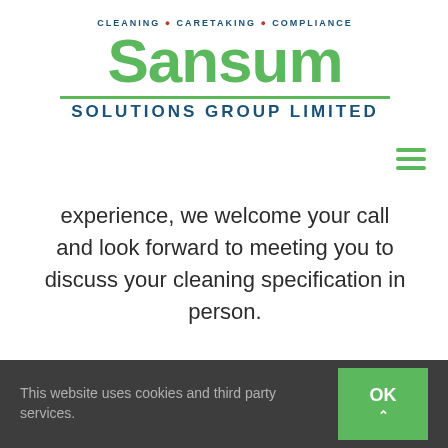[Figure (logo): Sansum Solutions Group Limited logo with green Sansum text, tagline CLEANING CARETAKING COMPLIANCE, and SOLUTIONS GROUP LIMITED subtitle]
experience, we welcome your call and look forward to meeting you to discuss your cleaning specification in person.
Testimonial – Sarah Plank, Operations
This website uses cookies and third party services.